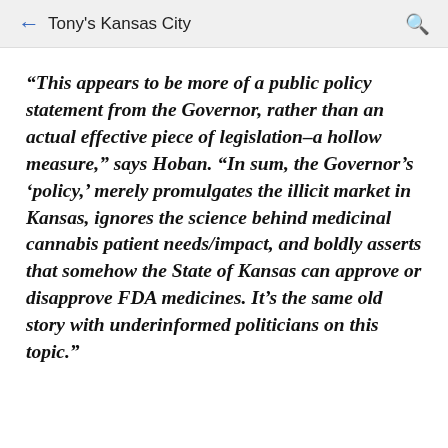← Tony's Kansas City 🔍
“This appears to be more of a public policy statement from the Governor, rather than an actual effective piece of legislation–a hollow measure,” says Hoban. “In sum, the Governor’s ‘policy,’ merely promulgates the illicit market in Kansas, ignores the science behind medicinal cannabis patient needs/impact, and boldly asserts that somehow the State of Kansas can approve or disapprove FDA medicines. It’s the same old story with underinformed politicians on this topic.”